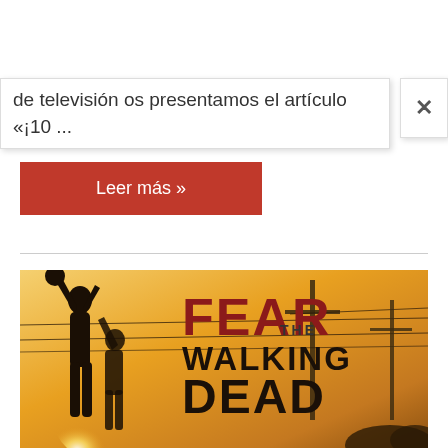de televisión os presentamos el artículo «¡10 ...
Leer más »
[Figure (photo): Fear The Walking Dead promotional poster showing silhouettes of people reaching up against a warm sunset sky with power lines in the background. Bold text reads FEAR THE WALKING DEAD.]